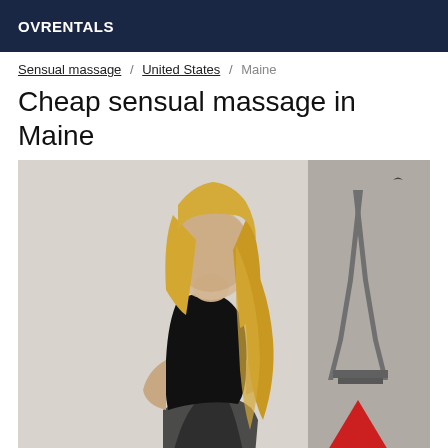OVRENTALS
Sensual massage / United States / Maine
Cheap sensual massage in Maine
[Figure (photo): A blonde woman in a black outfit posing in a room with a red lamp and an Eiffel Tower artwork in the background. Her face is blurred.]